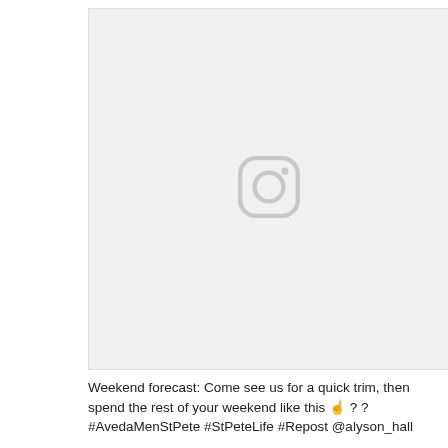[Figure (photo): Instagram image placeholder with a grey Instagram camera icon centered on a light grey background]
Weekend forecast: Come see us for a quick trim, then spend the rest of your weekend like this 👆 ? ? #AvedaMenStPete #StPeteLife #Repost @alyson_hall